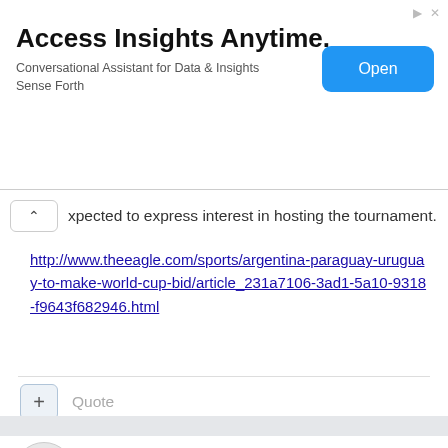[Figure (screenshot): Advertisement banner: 'Access Insights Anytime. Conversational Assistant for Data & Insights Sense Forth' with a blue 'Open' button]
xpected to express interest in hosting the tournament.
http://www.theeagle.com/sports/argentina-paraguay-uruguay-to-make-world-cup-bid/article_231a7106-3ad1-5a10-9318-f9643f682946.html
Quote
yoshi
Posted October 4, 2017